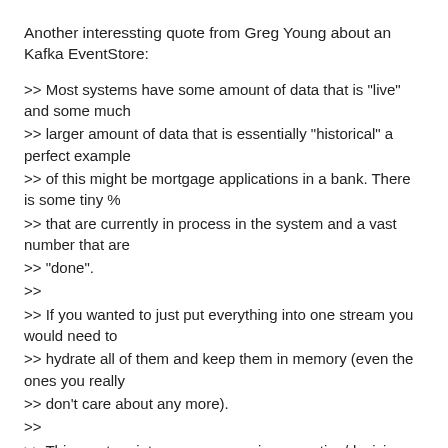Another interessting quote from Greg Young about an Kafka EventStore:
>> Most systems have some amount of data that is "live" and some much
>> larger amount of data that is essentially "historical" a perfect example
>> of this might be mortgage applications in a bank. There is some tiny %
>> that are currently in process in the system and a vast number that are
>> "done".
>>
>> If you wanted to just put everything into one stream you would need to
>> hydrate all of them and keep them in memory (even the ones you really
>> don't care about any more).
>>
>> This can turn into a very expensive operation/decision.
>>